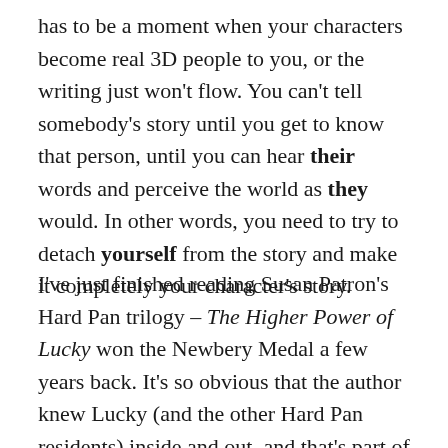has to be a moment when your characters become real 3D people to you, or the writing just won't flow. You can't tell somebody's story until you get to know that person, until you can hear their words and perceive the world as they would. In other words, you need to try to detach yourself from the story and make it completely your character's story.
I've just finished reading Susan Patron's Hard Pan trilogy – The Higher Power of Lucky won the Newbery Medal a few years back. It's so obvious that the author knew Lucky (and the other Hard Pan residents) inside and out, and that's part of what makes them such wonderful books. The author's voice is rarely, if ever, evident. That's a skill I'm still